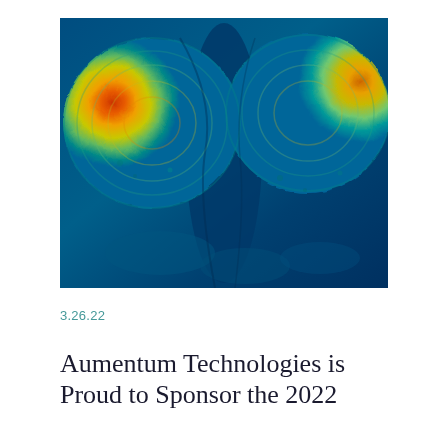[Figure (map): Bathymetric or topographic relief map showing seafloor or terrain elevation rendered with a color gradient from deep blue (low) through teal, green, yellow-green, yellow, orange, to red-orange (high peaks), showing two prominent elevated regions (seamounts or mountains) separated by a deep channel.]
3.26.22
Aumentum Technologies is Proud to Sponsor the 2022